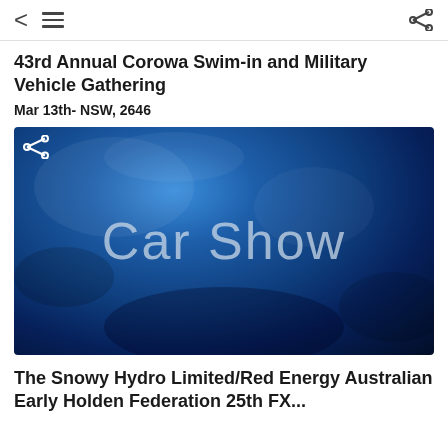< ≡  [share icon]
43rd Annual Corowa Swim-in and Military Vehicle Gathering
Mar 13th- NSW, 2646
[Figure (photo): Blue textured background image with 'Car Show' text in large light grey letters]
The Snowy Hydro Limited/Red Energy Australian Early Holden Federation 25th FX...